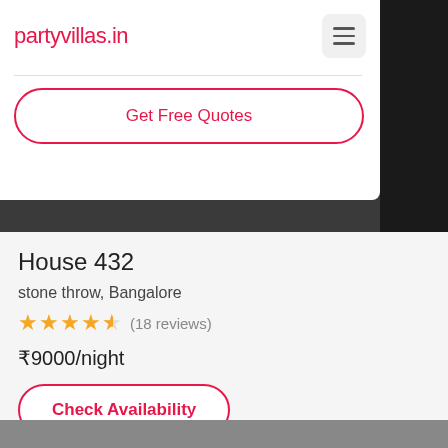partyvillas.in
[Figure (screenshot): Hero image of House 432 property, dark interior/exterior photo]
Get Free Quotes
House 432
stone throw, Bangalore
★★★★½ (18 reviews)
₹9000/night
Check Availability
[Figure (photo): Bottom strip showing partial property photo]